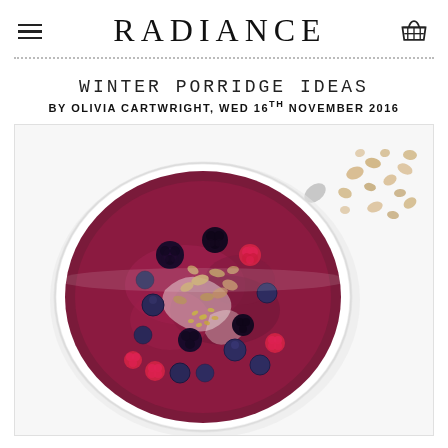RADIANCE
WINTER PORRIDGE IDEAS
BY OLIVIA CARTWRIGHT, WED 16TH NOVEMBER 2016
[Figure (photo): Overhead photo of a white bowl of berry porridge topped with blueberries, blackberries, raspberries, crushed nuts, and seeds, with a spoon resting in it, on a white background with scattered nuts beside the bowl.]